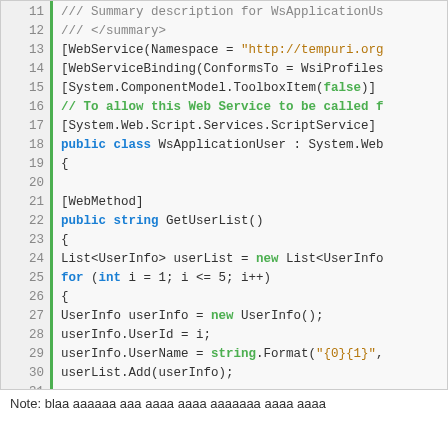[Figure (screenshot): Code editor screenshot showing C# web service code with line numbers 11-36, green vertical bar, syntax highlighting in blue/green/brown on light gray background]
Note: blaa aaaaaa aaa aaaa aaaa aaaaaaa aaaa aaaa